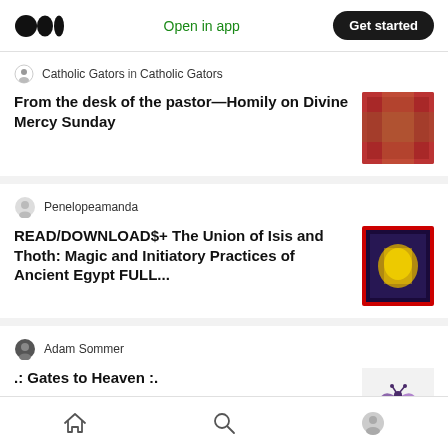Medium logo | Open in app | Get started
Catholic Gators in Catholic Gators
From the desk of the pastor—Homily on Divine Mercy Sunday
Penelopeamanda
READ/DOWNLOAD$+ The Union of Isis and Thoth: Magic and Initiatory Practices of Ancient Egypt FULL...
Adam Sommer
.: Gates to Heaven :.
Mari
Home | Search | Profile